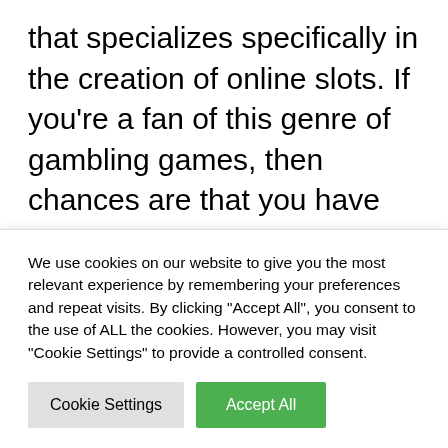that specializes specifically in the creation of online slots. If you're a fan of this genre of gambling games, then chances are that you have played some slots made by Playtech by now, as the company is a popular choice among iGaming operators. That being said, a solid title that you can play, made by Playtech, goes by the name of Buffalo Blitz 2. It's a
We use cookies on our website to give you the most relevant experience by remembering your preferences and repeat visits. By clicking "Accept All", you consent to the use of ALL the cookies. However, you may visit "Cookie Settings" to provide a controlled consent.